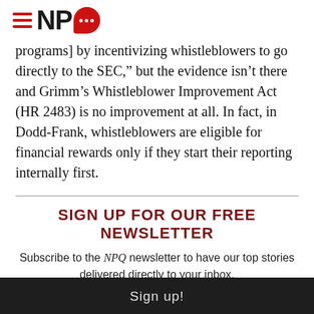NPQ
programs] by incentivizing whistleblowers to go directly to the SEC,” but the evidence isn’t there and Grimm’s Whistleblower Improvement Act (HR 2483) is no improvement at all. In fact, in Dodd-Frank, whistleblowers are eligible for financial rewards only if they start their reporting internally first.
SIGN UP FOR OUR FREE NEWSLETTER
Subscribe to the NPQ newsletter to have our top stories delivered directly to your inbox.
Sign Up!
Sign up!